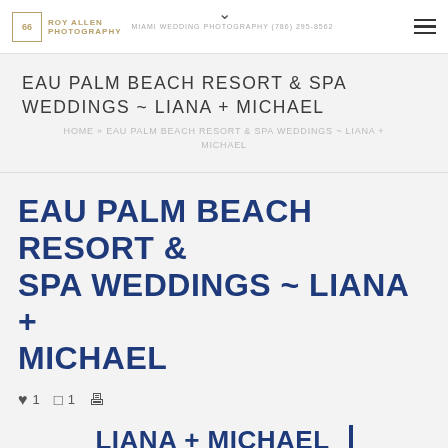MIAMI WEDDING PHOTOGRAPHY (786) 295-8562
EAU PALM BEACH RESORT & SPA WEDDINGS ~ LIANA + MICHAEL
HOME » EAU PALM BEACH RESORT & SPA WEDDINGS ~ LIANA + MICHAEL
EAU PALM BEACH RESORT & SPA WEDDINGS ~ LIANA + MICHAEL
♥ 1   💬 1   🖨
LIANA + MICHAEL |